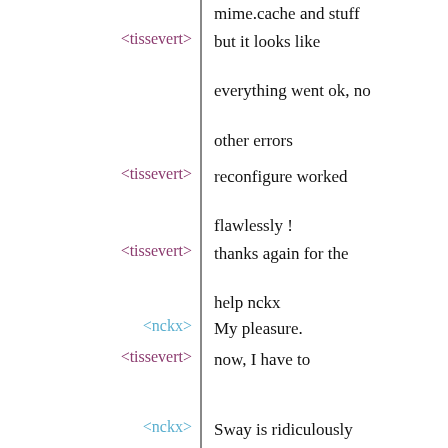mime.cache and stuff
<tissevert> but it looks like everything went ok, no other errors
<tissevert> reconfigure worked flawlessly !
<tissevert> thanks again for the help nckx
<nckx> My pleasure.
<tissevert> now, I have to understand why sway doesn't behave like i3 and I can't even ask it to exit but that's another story ^^
<nckx> Sway is ridiculously